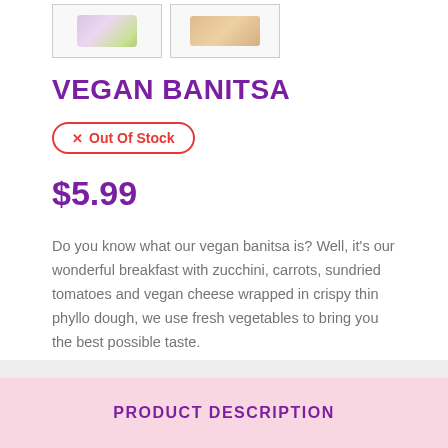[Figure (photo): Two thumbnail product images side by side: left shows vegan banitsa with green herb garnish, right shows a baked pastry product]
VEGAN BANITSA
✕ Out Of Stock
$5.99
Do you know what our vegan banitsa is? Well, it's our wonderful breakfast with zucchini, carrots, sundried tomatoes and vegan cheese wrapped in crispy thin phyllo dough, we use fresh vegetables to bring you the best possible taste.
PRODUCT DESCRIPTION